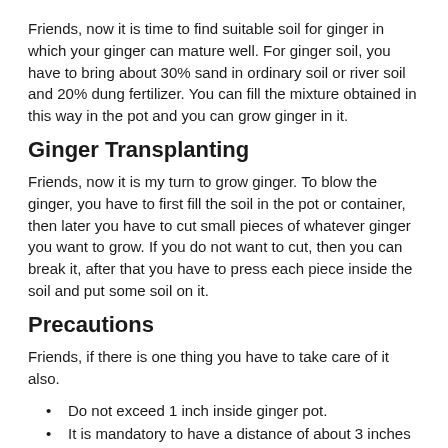Friends, now it is time to find suitable soil for ginger in which your ginger can mature well. For ginger soil, you have to bring about 30% sand in ordinary soil or river soil and 20% dung fertilizer. You can fill the mixture obtained in this way in the pot and you can grow ginger in it.
Ginger Transplanting
Friends, now it is my turn to grow ginger. To blow the ginger, you have to first fill the soil in the pot or container, then later you have to cut small pieces of whatever ginger you want to grow. If you do not want to cut, then you can break it, after that you have to press each piece inside the soil and put some soil on it.
Precautions
Friends, if there is one thing you have to take care of it also.
Do not exceed 1 inch inside ginger pot.
It is mandatory to have a distance of about 3 inches between each ginger.